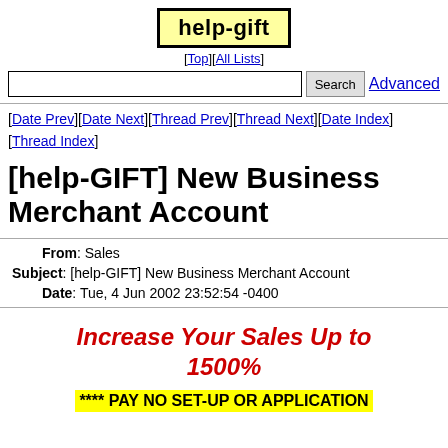help-gift
[Top][All Lists]
[Date Prev][Date Next][Thread Prev][Thread Next][Date Index][Thread Index]
[help-GIFT] New Business Merchant Account
| From: | Sales |
| Subject: | [help-GIFT] New Business Merchant Account |
| Date: | Tue, 4 Jun 2002 23:52:54 -0400 |
Increase Your Sales Up to 1500%
**** PAY NO SET-UP OR APPLICATION